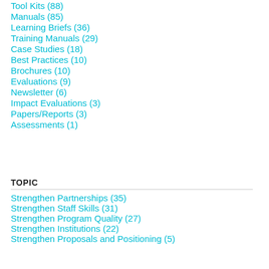Tool Kits (88)
Manuals (85)
Learning Briefs (36)
Training Manuals (29)
Case Studies (18)
Best Practices (10)
Brochures (10)
Evaluations (9)
Newsletter (6)
Impact Evaluations (3)
Papers/Reports (3)
Assessments (1)
TOPIC
Strengthen Partnerships (35)
Strengthen Staff Skills (31)
Strengthen Program Quality (27)
Strengthen Institutions (22)
Strengthen Proposals and Positioning (5)